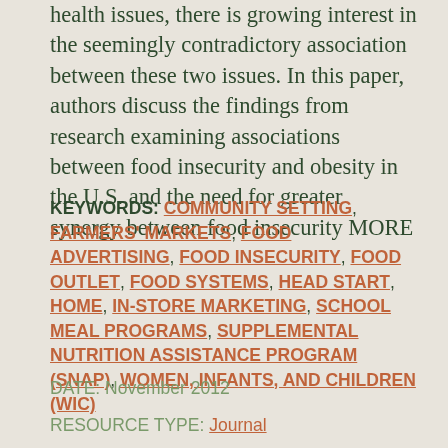health issues, there is growing interest in the seemingly contradictory association between these two issues. In this paper, authors discuss the findings from research examining associations between food insecurity and obesity in the U.S. and the need for greater synergy between food insecurity MORE
KEYWORDS: COMMUNITY SETTING, FARMERS' MARKETS, FOOD ADVERTISING, FOOD INSECURITY, FOOD OUTLET, FOOD SYSTEMS, HEAD START, HOME, IN-STORE MARKETING, SCHOOL MEAL PROGRAMS, SUPPLEMENTAL NUTRITION ASSISTANCE PROGRAM (SNAP), WOMEN, INFANTS, AND CHILDREN (WIC)
DATE: November 2012
RESOURCE TYPE: Journal